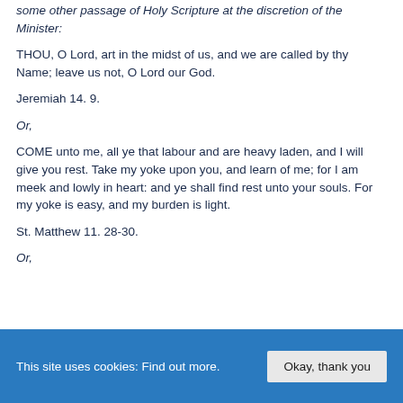some other passage of Holy Scripture at the discretion of the Minister:
THOU, O Lord, art in the midst of us, and we are called by thy Name; leave us not, O Lord our God.
Jeremiah 14. 9.
Or,
COME unto me, all ye that labour and are heavy laden, and I will give you rest. Take my yoke upon you, and learn of me; for I am meek and lowly in heart: and ye shall find rest unto your souls. For my yoke is easy, and my burden is light.
St. Matthew 11. 28-30.
Or,
This site uses cookies: Find out more. Okay, thank you